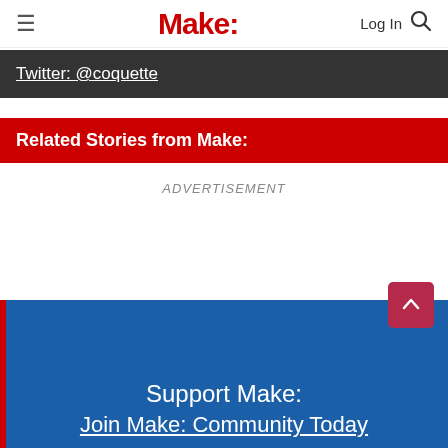Make:
Twitter: @coquette
Related Stories from Make:
ADVERTISEMENT
Support Make:
Join Make: Community Today